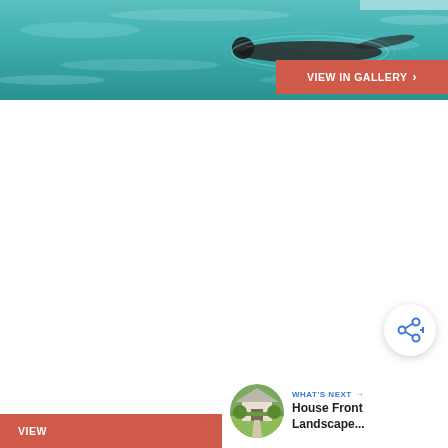[Figure (photo): A swimmer wearing a swim cap and goggles doing a backstroke in a teal/turquoise swimming pool viewed from above]
VIEW IN GALLERY ›
[Figure (infographic): Share button icon (network share icon with plus sign) in a white circular button with shadow]
WHAT'S NEXT → House Front Landscape...
VIEW